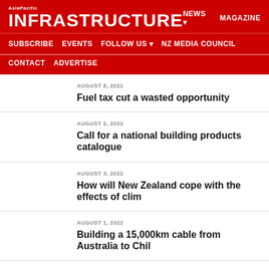AsiaPacific INFRASTRUCTURE | NEWS | MAGAZINE | SUBSCRIBE | EVENTS | FOLLOW US | NZ MEDIA COUNCIL | CONTACT | ADVERTISE
AUGUST 8, 2022
Fuel tax cut a wasted opportunity
AUGUST 5, 2022
Call for a national building products catalogue
AUGUST 3, 2022
How will New Zealand cope with the effects of clim
AUGUST 1, 2022
Building a 15,000km cable from Australia to Chil